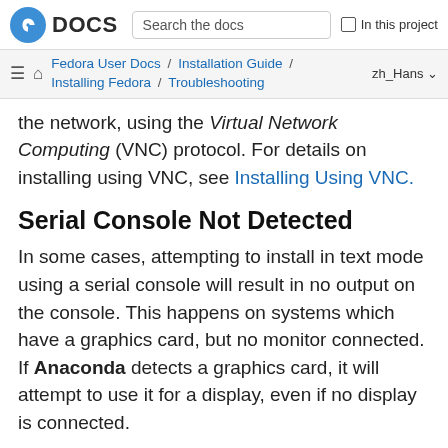DOCS | Search the docs | In this project
Fedora User Docs / Installation Guide / Installing Fedora / Troubleshooting | zh_Hans
the network, using the Virtual Network Computing (VNC) protocol. For details on installing using VNC, see Installing Using VNC.
Serial Console Not Detected
In some cases, attempting to install in text mode using a serial console will result in no output on the console. This happens on systems which have a graphics card, but no monitor connected. If Anaconda detects a graphics card, it will attempt to use it for a display, even if no display is connected.
If you want to perform a text-based installation on a